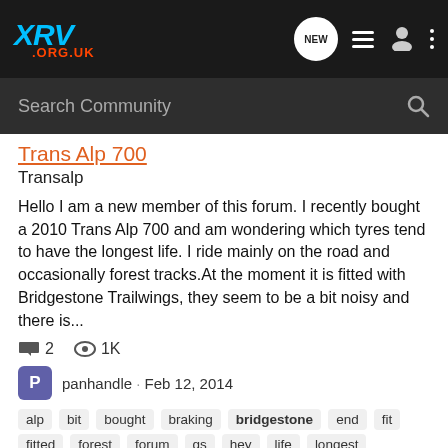XRV .ORG.UK — navigation bar with search
Trans Alp 700
Transalp
Hello I am a new member of this forum. I recently bought a 2010 Trans Alp 700 and am wondering which tyres tend to have the longest life. I ride mainly on the road and occasionally forest tracks.At the moment it is fitted with Bridgestone Trailwings, they seem to be a bit noisy and there is...
2 comments · 1K views · panhandle · Feb 12, 2014
alp  bit  bought  braking  bridgestone  end  fit  fitted  forest  forum  gs  hey  life  longest  member  moment  noisy  racks  recently  ride  road  suggestions  trans  tyres  wondering